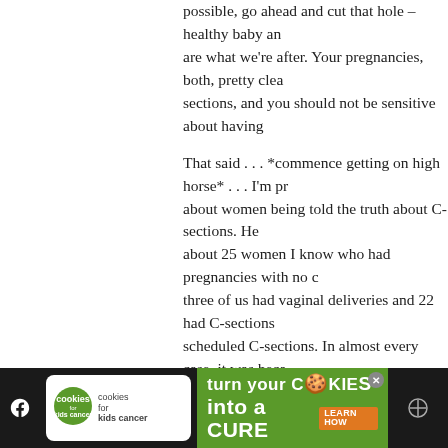possible, go ahead and cut that hole – healthy baby and are what we're after. Your pregnancies, both, pretty clea sections, and you should not be sensitive about having
That said . . . *commence getting on high horse* . . . I'm pr about women being told the truth about C-sections. He about 25 women I know who had pregnancies with no c three of us had vaginal deliveries and 22 had C-sections scheduled C-sections. In almost every case, it was becau "measuring big" – and these "big" babies ended up rang lbs to 8lbs and change. I find that a little shocking. I thir profession (and popular culture) scare women into thir birth is too scary, too painful, and too hard to do. It's lik patting us on the hand and telling us – It's OK sweetie, enough to push them out on your own, we'll just get the
C-sections should be an absolute last resort, brought to the babies or the mamas are in some trouble. OR wome to elect them, if they want, after having been communic facts about their health, their baby's health, and the ris
[Figure (infographic): Advertisement banner at bottom: 'cookies for kids cancer – turn your COOKIES into a CURE LEARN HOW' with social media icons on left and right sides against dark background]